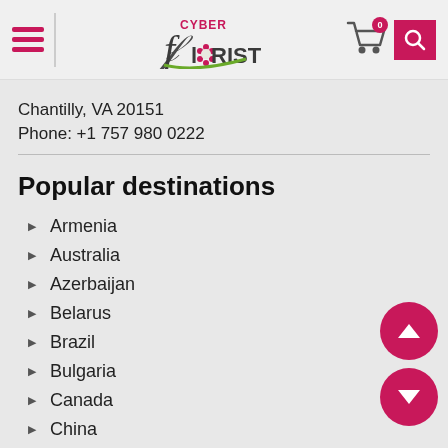Cyber Florist — navigation header with hamburger menu, logo, cart (0), and search
Chantilly, VA 20151
Phone: +1 757 980 0222
Popular destinations
Armenia
Australia
Azerbaijan
Belarus
Brazil
Bulgaria
Canada
China